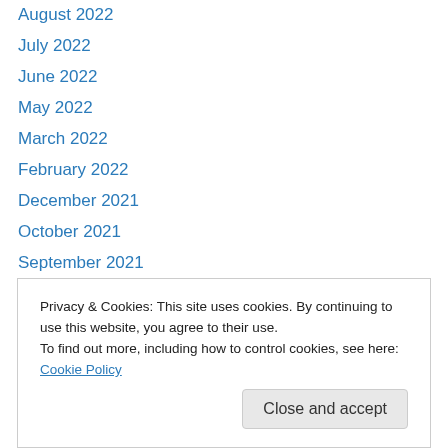August 2022
July 2022
June 2022
May 2022
March 2022
February 2022
December 2021
October 2021
September 2021
July 2021
June 2021
May 2021
April 2021
September 2020
Privacy & Cookies: This site uses cookies. By continuing to use this website, you agree to their use. To find out more, including how to control cookies, see here: Cookie Policy